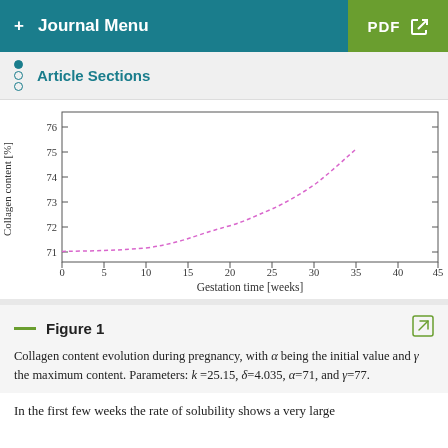+ Journal Menu | PDF
Article Sections
[Figure (continuous-plot): A dashed pink/magenta curve showing collagen content (%) increasing from ~71% at 0 weeks, staying nearly flat until ~10 weeks, then rising steeply to ~76% at ~32 weeks, plotted against gestation time (0 to 45 weeks). y-axis from 71 to 76.]
Figure 1
Collagen content evolution during pregnancy, with α being the initial value and γ the maximum content. Parameters: k =25.15, δ=4.035, α=71, and γ=77.
In the first few weeks the rate of solubility shows a very large